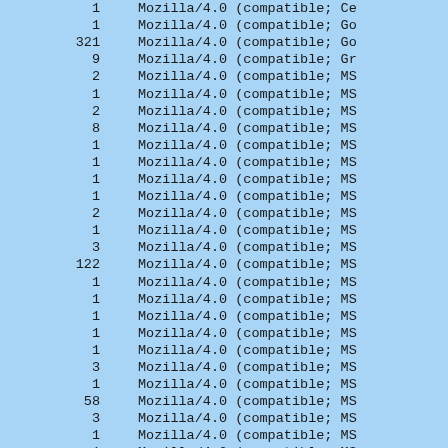| Count | User Agent |
| --- | --- |
| 1 | Mozilla/4.0 (compatible; Ce... |
| 1 | Mozilla/4.0 (compatible; Go... |
| 321 | Mozilla/4.0 (compatible; Go... |
| 9 | Mozilla/4.0 (compatible; Gr... |
| 2 | Mozilla/4.0 (compatible; MS... |
| 1 | Mozilla/4.0 (compatible; MS... |
| 2 | Mozilla/4.0 (compatible; MS... |
| 8 | Mozilla/4.0 (compatible; MS... |
| 1 | Mozilla/4.0 (compatible; MS... |
| 1 | Mozilla/4.0 (compatible; MS... |
| 1 | Mozilla/4.0 (compatible; MS... |
| 1 | Mozilla/4.0 (compatible; MS... |
| 2 | Mozilla/4.0 (compatible; MS... |
| 1 | Mozilla/4.0 (compatible; MS... |
| 3 | Mozilla/4.0 (compatible; MS... |
| 122 | Mozilla/4.0 (compatible; MS... |
| 1 | Mozilla/4.0 (compatible; MS... |
| 1 | Mozilla/4.0 (compatible; MS... |
| 1 | Mozilla/4.0 (compatible; MS... |
| 1 | Mozilla/4.0 (compatible; MS... |
| 1 | Mozilla/4.0 (compatible; MS... |
| 3 | Mozilla/4.0 (compatible; MS... |
| 1 | Mozilla/4.0 (compatible; MS... |
| 58 | Mozilla/4.0 (compatible; MS... |
| 3 | Mozilla/4.0 (compatible; MS... |
| 1 | Mozilla/4.0 (compatible; MS... |
| 1 | Mozilla/4.0 (compatible; MS... |
| 1 | Mozilla/4.0 (compatible; MS... |
| 1 | Mozilla/4.0 (compatible; MS... |
| 2 | Mozilla/4.0 (compatible; MS... |
| 1 | Mozilla/4.0 (compatible; MS... |